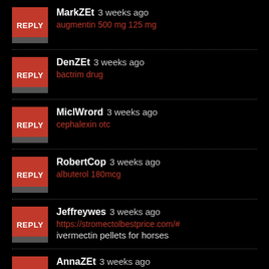MarkZEt  3 weeks ago
augmentin 500 mg 125 mg
DenZEt  3 weeks ago
bactrim drug
MiclWrord  3 weeks ago
cephalexin otc
RobertCop  3 weeks ago
albuterol 180mcg
Jeffreywes  3 weeks ago
https://stromectolbestprice.com/#
ivermectin pellets for horses
AnnaZEt  3 weeks ago